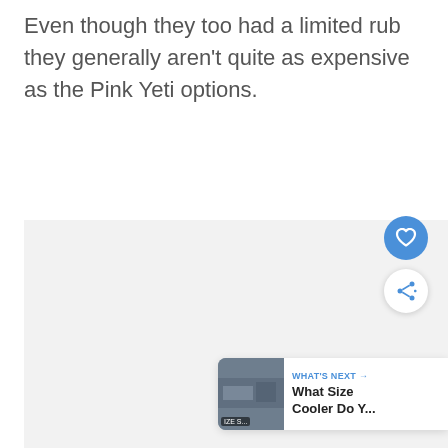Even though they too had a limited rub they generally aren't quite as expensive as the Pink Yeti options.
[Figure (screenshot): Gray placeholder image area with floating UI elements: a blue heart/favorite button, a white share button, and a 'What's Next' card at the bottom right showing a thumbnail and text 'What Size Cooler Do Y...']